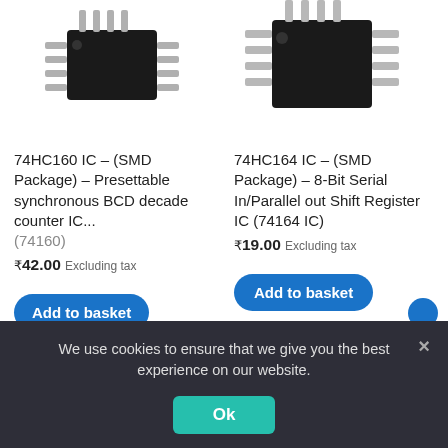[Figure (photo): SMD IC chip photo for 74HC160 IC, top-left, partially cropped]
[Figure (photo): SMD IC chip photo for 74HC164 IC, top-right, partially cropped]
74HC160 IC – (SMD Package) – Presettable synchronous BCD decade counter IC... (74160)
74HC164 IC – (SMD Package) – 8-Bit Serial In/Parallel out Shift Register IC (74164 IC)
₹42.00 Excluding tax
₹19.00 Excluding tax
Add to basket
Add to basket
[Figure (photo): SMD IC chip photo bottom-left, partially cropped]
[Figure (photo): SMD IC chip photo bottom-right, partially cropped]
We use cookies to ensure that we give you the best experience on our website.
Ok